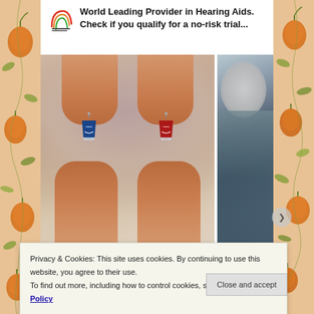[Figure (other): Decorative floral/fruit pattern side panels on left and right edges of page]
[Figure (logo): Hearing Aid Advice logo — rainbow arc lines with text]
World Leading Provider in Hearing Aids. Check if you qualify for a no-risk trial...
[Figure (photo): Two small hearing aids (one blue, one red) held between fingers, and a partial image of an elderly person on the right]
Privacy & Cookies: This site uses cookies. By continuing to use this website, you agree to their use.
To find out more, including how to control cookies, see here: Cookie Policy